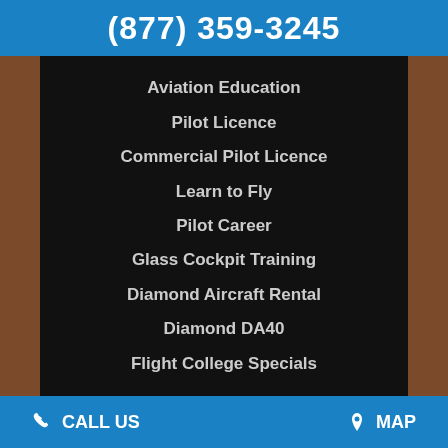(877) 359-3245
Aviation Education
Pilot Licence
Commercial Pilot Licence
Learn to Fly
Pilot Career
Glass Cockpit Training
Diamond Aircraft Rental
Diamond DA40
Flight College Specials
CALL US   MAP